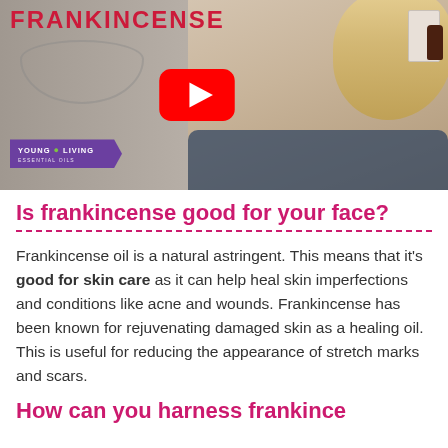[Figure (screenshot): YouTube video thumbnail showing a woman with a blonde braid, wearing a floral dress, with the word FRANKINCENSE at the top, a YouTube play button in the center, and a Young Living Essential Oils purple badge in the lower left corner.]
Is frankincense good for your face?
Frankincense oil is a natural astringent. This means that it’s good for skin care as it can help heal skin imperfections and conditions like acne and wounds. Frankincense has been known for rejuvenating damaged skin as a healing oil. This is useful for reducing the appearance of stretch marks and scars.
How can you harness frankince